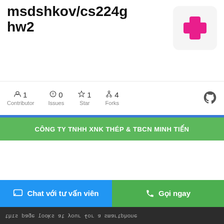msdshkov/cs224g hw2
[Figure (logo): Pink cross / plus sign logo on light gray rounded square background]
1 Contributor  0 Issues  1 Star  4 Forks
CÔNG TY TNHH XNK THÉP & TBCN MINH TIẾN
Trang chủ / Tôn Lợp - Xà Gồ
LỌC
Chat với tư vấn viên
Gọi ngay